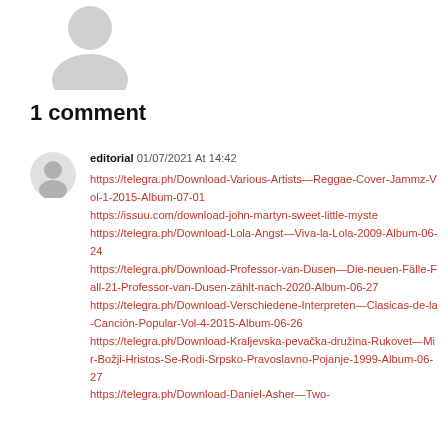[Figure (illustration): Gray placeholder avatar silhouette at top of page]
1 comment
[Figure (illustration): Small gray placeholder avatar silhouette next to comment]
editorial 01/07/2021 At 14:42
https://telegra.ph/Download-Various-Artists—Reggae-Cover-Jammz-Vol-1-2015-Album-07-01
https://issuu.com/download-john-martyn-sweet-little-myste
https://telegra.ph/Download-Lola-Angst—Viva-la-Lola-2009-Album-06-24
https://telegra.ph/Download-Professor-van-Dusen—Die-neuen-Fälle-Fall-21-Professor-van-Dusen-zählt-nach-2020-Album-06-27
https://telegra.ph/Download-Verschiedene-Interpreten—Clasicas-de-la-Canción-Popular-Vol-4-2015-Album-06-26
https://telegra.ph/Download-Kraljevska-pevačka-družina-Rukovet—Mir-Božji-Hristos-Se-Rodi-Srpsko-Pravoslavno-Pojanje-1999-Album-06-27
https://telegra.ph/Download-Daniel-Asher—Two-